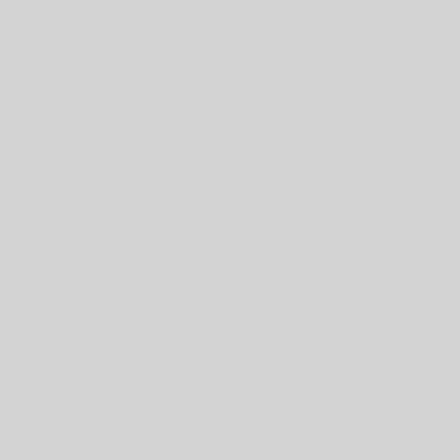fiscal year 1976 are extremely d
source.
We would also note that as a res Government for the first time ha level. This eliminates one of the general purpose use.
We suspect these may be the firs from the bill's original intent.
We believe that this program has inequities in application and lack
Only a major revision of the pro develop a new law which will el prevailed in this area for the past
I would like to say, Mr. Chairm thinking also would exclude deb if our current thinking is implem
Thank you, Mr. Chairman. My c
Chairman PERKINS. Let me tha accompanied you here this morn
In my judgment your propose